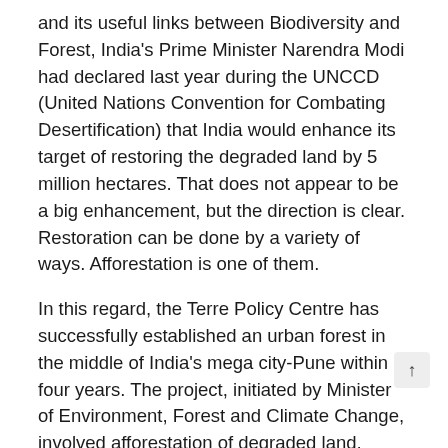and its useful links between Biodiversity and Forest, India's Prime Minister Narendra Modi had declared last year during the UNCCD (United Nations Convention for Combating Desertification) that India would enhance its target of restoring the degraded land by 5 million hectares. That does not appear to be a big enhancement, but the direction is clear. Restoration can be done by a variety of ways. Afforestation is one of them.
In this regard, the Terre Policy Centre has successfully established an urban forest in the middle of India's mega city-Pune within four years. The project, initiated by Minister of Environment, Forest and Climate Change, involved afforestation of degraded land, which otherwise would have become part of the growing concrete-jungle that Pune has become over the last two decades. Now there stands an urban forest on nearly 20 hectares of land, in the midst of high rises and office complexes.